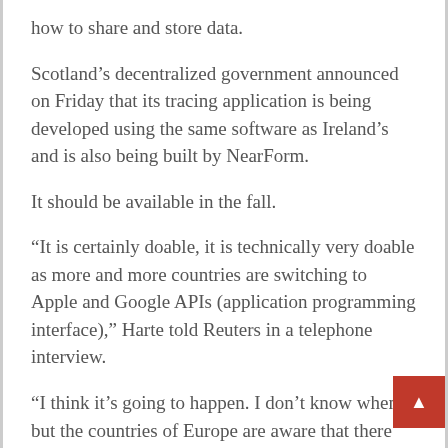how to share and store data.
Scotland's decentralized government announced on Friday that its tracing application is being developed using the same software as Ireland's and is also being built by NearForm.
It should be available in the fall.
“It is certainly doable, it is technically very doable as more and more countries are switching to Apple and Google APIs (application programming interface),” Harte told Reuters in a telephone interview.
“I think it’s going to happen. I don’t know when, but the countries of Europe are aware that there are more people starting to travel now